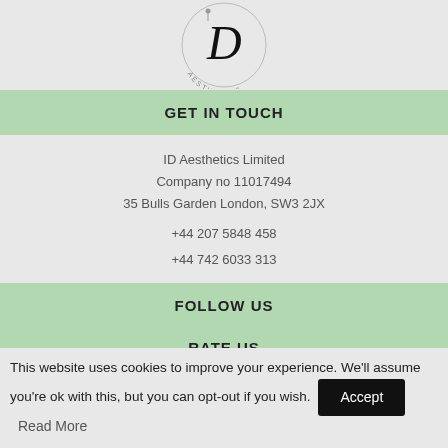[Figure (logo): ID Aesthetics logo — circle with letter D and floral element, text AESTHETICS curved around bottom]
GET IN TOUCH
ID Aesthetics Limited
Company no 11017494
35 Bulls Garden London, SW3 2JX
+44 207 5848 458
+44 742 6033 313
FOLLOW US
[Figure (infographic): Row of social media icons: Facebook, Instagram, YouTube, Twitter, Pinterest, LinkedIn, WhatsApp, Tumblr]
RATE US
This website uses cookies to improve your experience. We'll assume you're ok with this, but you can opt-out if you wish. Accept Read More